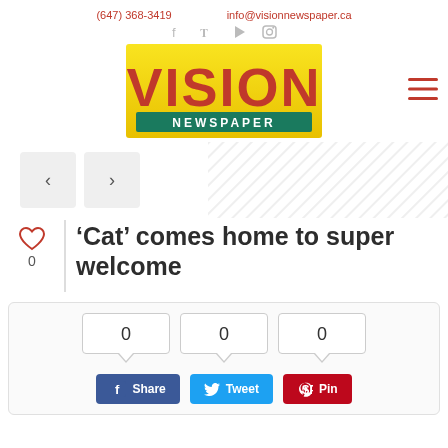(647) 368-3419   info@visionnewspaper.ca
[Figure (logo): Vision Newspaper logo — red bold 'VISION' text on yellow/gold background, with 'NEWSPAPER' in white text on green banner below]
'Cat' comes home to super welcome
0 (likes)
0  0  0 (share counts) — Share, Tweet, Pin buttons